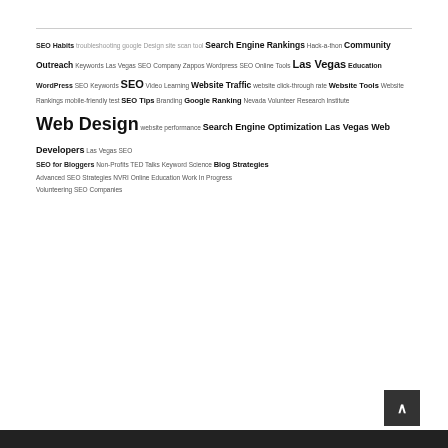tag cloud: SEO Habits troubleshooting google Design site scan tool Search Engine Rankings Hack-a-thon Community Outreach Keywords Las Vegas SEO Company Zappos Wordpress SEO Online Tools Las Vegas Education WordPress SEO Keywords SEO Video Learning Website Traffic website click-through rate Website Tools Website Rankings mobile-friendly test SEO Tips Branding Google Ranking Nevada Volunteer Research Institute Web Design website performance Search Engine Optimization Las Vegas Web Developers Las Vegas SEO SEO for Bloggers Non-Profits TED Talks Keyword Science Blog Strategies Advanced SEO Strategies NVRI Online Education Work In Progress Volunteering SEO Companies